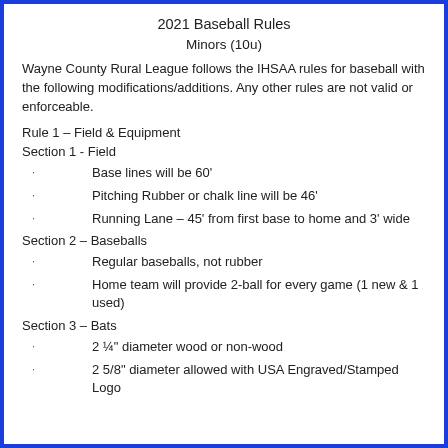2021 Baseball Rules
Minors (10u)
Wayne County Rural League follows the IHSAA rules for baseball with the following modifications/additions. Any other rules are not valid or enforceable.
Rule 1 – Field & Equipment
Section 1 - Field
Base lines will be 60'
Pitching Rubber or chalk line will be 46'
Running Lane – 45' from first base to home and 3' wide
Section 2 – Baseballs
Regular baseballs, not rubber
Home team will provide 2-ball for every game (1 new & 1 used)
Section 3 – Bats
2 ¼" diameter wood or non-wood
2 5/8" diameter allowed with USA Engraved/Stamped Logo